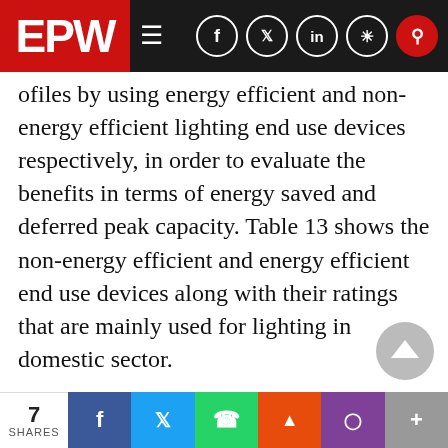EPW [navigation bar with social icons]
...ofiles by using energy efficient and non-energy efficient lighting end use devices respectively, in order to evaluate the benefits in terms of energy saved and deferred peak capacity. Table 13 shows the non-energy efficient and energy efficient end use devices along with their ratings that are mainly used for lighting in domestic sector.
Here the load profile with energy efficient end use is constructed based on the assumption that 40 per cent of incandescent lamps will be replaced by compact fluorescent lamps (CFLs) of average power rating 14 W and 25 per cent of existing
7 SHARES | f | tw | wa | rd | pk | +